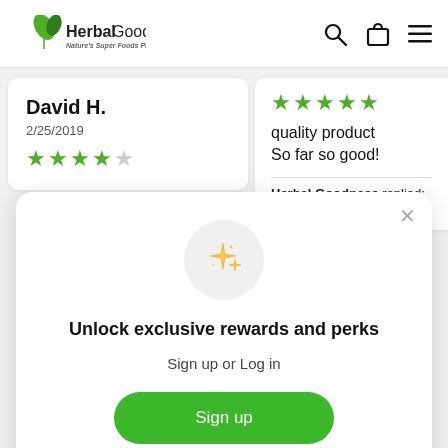Herbal Goodness — Nature's Super Foods Pure & Simple.
David H.
2/25/2019
★★★★☆
★★★★★
quality product
So far so good!
Herbal Goodness replied:
Thank for your...
[Figure (screenshot): Unlock exclusive rewards and perks modal with sparkle icon, Sign up or Log in text, green Sign up button, and Already have an account? Sign in link.]
Unlock exclusive rewards and perks
Sign up or Log in
Sign up
Already have an account? Sign in